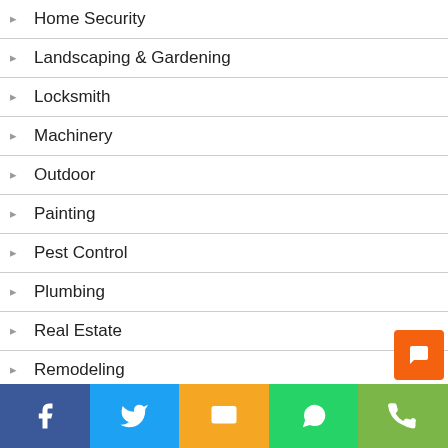Home Security
Landscaping & Gardening
Locksmith
Machinery
Outdoor
Painting
Pest Control
Plumbing
Real Estate
Remodeling
Renovation